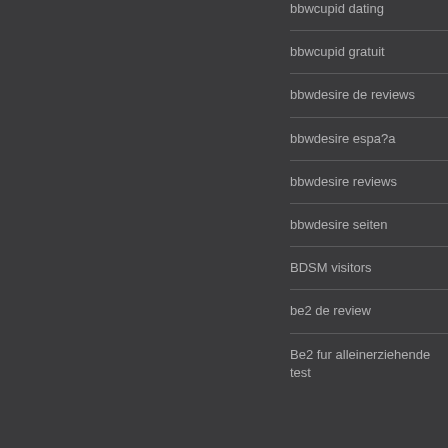bbwcupid dating
bbwcupid gratuit
bbwdesire de reviews
bbwdesire espa?a
bbwdesire reviews
bbwdesire seiten
BDSM visitors
be2 de review
Be2 fur alleinerziehende test